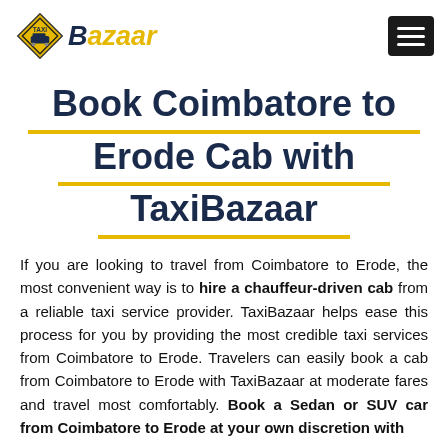TaxiBazaar logo and navigation
Book Coimbatore to Erode Cab with TaxiBazaar
If you are looking to travel from Coimbatore to Erode, the most convenient way is to hire a chauffeur-driven cab from a reliable taxi service provider. TaxiBazaar helps ease this process for you by providing the most credible taxi services from Coimbatore to Erode. Travelers can easily book a cab from Coimbatore to Erode with TaxiBazaar at moderate fares and travel most comfortably. Book a Sedan or SUV car from Coimbatore to Erode at your own discretion with